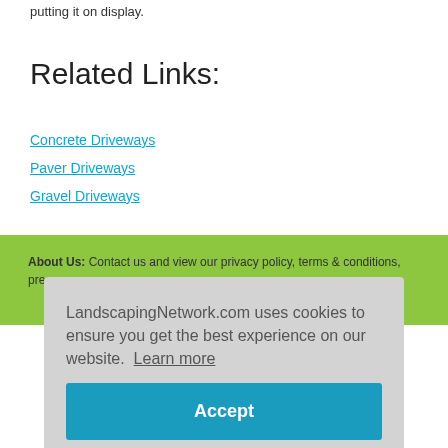putting it on display.
Related Links:
Concrete Driveways
Paver Driveways
Gravel Driveways
About Us: Contact us and view our privacy policy, terms & conditions, press ... rved.
LandscapingNetwork.com uses cookies to ensure you get the best experience on our website. Learn more
Accept